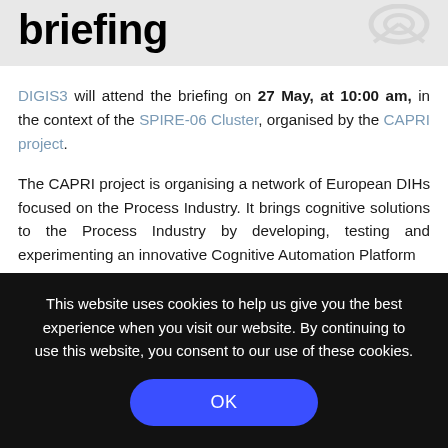briefing
DIGIS3 will attend the briefing on 27 May, at 10:00 am, in the context of the SPIRE-06 Cluster, organised by the CAPRI project.
The CAPRI project is organising a network of European DIHs focused on the Process Industry. It brings cognitive solutions to the Process Industry by developing, testing and experimenting an innovative Cognitive Automation Platform
This website uses cookies to help us give you the best experience when you visit our website. By continuing to use this website, you consent to our use of these cookies.
OK